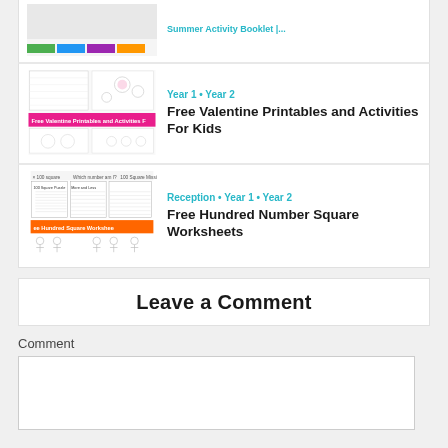[Figure (illustration): Thumbnail image for Free Valentine Printables and Activities For Kids worksheet preview]
Year 1 • Year 2
Free Valentine Printables and Activities For Kids
[Figure (illustration): Thumbnail image for Free Hundred Number Square Worksheets preview]
Reception • Year 1 • Year 2
Free Hundred Number Square Worksheets
Leave a Comment
Comment